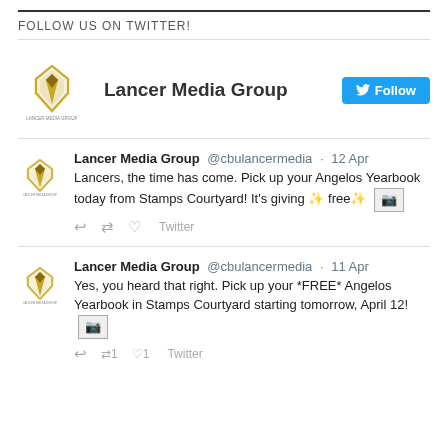FOLLOW US ON TWITTER!
[Figure (logo): Lancer Media Group logo with Follow button on Twitter]
Lancer Media Group @cbulancermedia · 12 Apr
Lancers, the time has come. Pick up your Angelos Yearbook today from Stamps Courtyard! It's giving ✨ free✨ [image]
Lancer Media Group @cbulancermedia · 11 Apr
Yes, you heard that right. Pick up your *FREE* Angelos Yearbook in Stamps Courtyard starting tomorrow, April 12! [image]